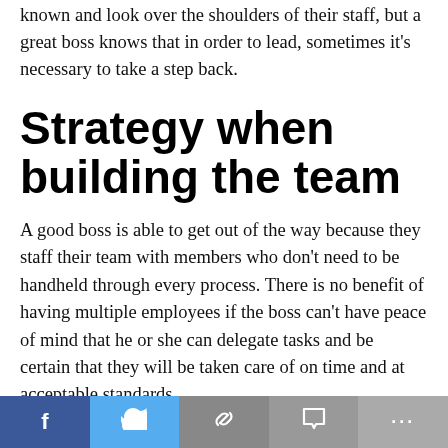known and look over the shoulders of their staff, but a great boss knows that in order to lead, sometimes it's necessary to take a step back.
Strategy when building the team
A good boss is able to get out of the way because they staff their team with members who don't need to be handheld through every process. There is no benefit of having multiple employees if the boss can't have peace of mind that he or she can delegate tasks and be certain that they will be taken care of on time and at acceptable standards.